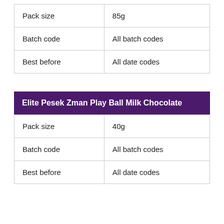|  |  |
| --- | --- |
| Pack size | 85g |
| Batch code | All batch codes |
| Best before | All date codes |
Elite Pesek Zman Play Ball Milk Chocolate
|  |  |
| --- | --- |
| Pack size | 40g |
| Batch code | All batch codes |
| Best before | All date codes |